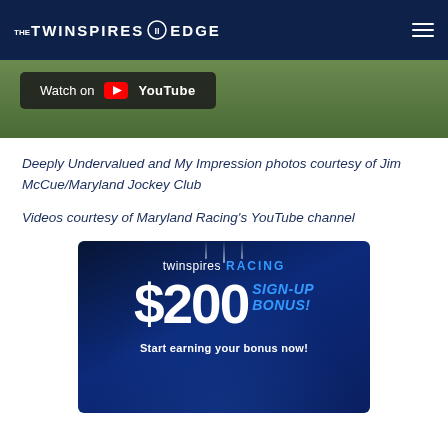THE TWINSPIRES EDGE
[Figure (screenshot): Video thumbnail showing a horse racing scene with a 'Watch on YouTube' overlay button]
Deeply Undervalued and My Impression photos courtesy of Jim McCue/Maryland Jockey Club
Videos courtesy of Maryland Racing's YouTube channel
[Figure (infographic): TwinSpires Racing advertisement banner showing '$200 SIGN-UP BONUS! Start earning your bonus now!']